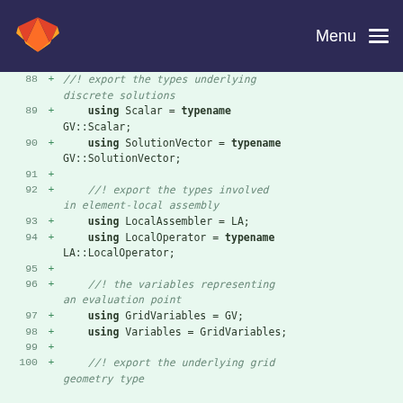Menu
[Figure (screenshot): GitLab code diff screenshot showing lines 88-100 of a C++ header file with type alias definitions using 'using' keyword. Lines show exports for Scalar, SolutionVector, LocalAssembler, LocalOperator, GridVariables, Variables types, with doxygen comments.]